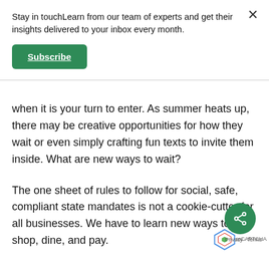Stay in touchLearn from our team of experts and get their insights delivered to your inbox every month.
Subscribe
when it is your turn to enter. As summer heats up, there may be creative opportunities for how they wait or even simply crafting fun texts to invite them inside. What are new ways to wait?
The one sheet of rules to follow for social, safe, compliant state mandates is not a cookie-cutter for all businesses. We have to learn new ways to shop, dine, and pay. Add in the unknown shortages of an item...